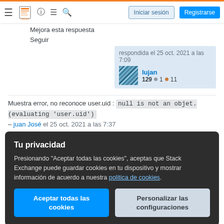Stack Exchange navigation bar with hamburger menu, logo, help, chat, search icons, Iniciar sesión and Registrarse buttons
Mejora esta respuesta
Seguir
respondida el 25 oct. 2021 a las 7:09
lujan 129 • 1 • 11
Muestra error, no reconoce user.uid : null is not an objet. (evaluating 'user.uid') – juan José el 25 oct. 2021 a las 7:37
Tu privacidad
Presionando "Aceptar todas las cookies", aceptas que Stack Exchange puede guardar cookies en tu dispositivo y mostrar información de acuerdo a nuestra politica de cookies.
Aceptar todas las cookies | Personalizar las configuraciones
pasando, si te sale Loading es por que te llega null
lujan el 26 oct. 2021 a las 9:16